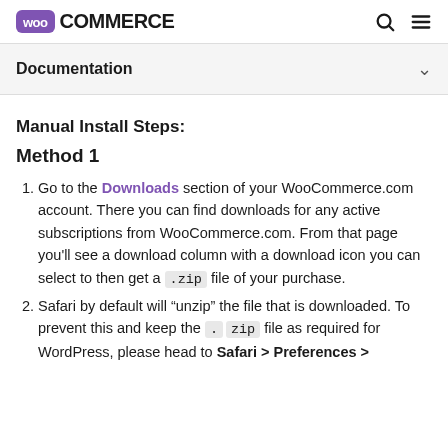WooCommerce
Documentation
Manual Install Steps:
Method 1
Go to the Downloads section of your WooCommerce.com account. There you can find downloads for any active subscriptions from WooCommerce.com. From that page you'll see a download column with a download icon you can select to then get a .zip file of your purchase.
Safari by default will "unzip" the file that is downloaded. To prevent this and keep the .zip file as required for WordPress, please head to Safari > Preferences >